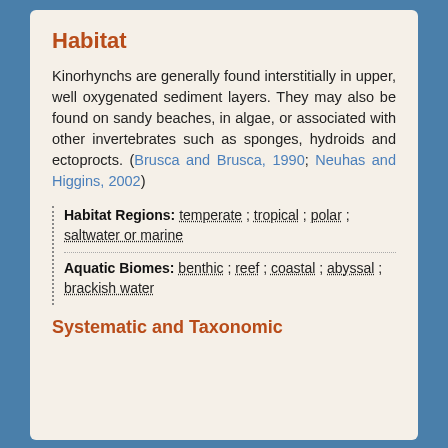Habitat
Kinorhynchs are generally found interstitially in upper, well oxygenated sediment layers. They may also be found on sandy beaches, in algae, or associated with other invertebrates such as sponges, hydroids and ectoprocts. (Brusca and Brusca, 1990; Neuhas and Higgins, 2002)
Habitat Regions: temperate ; tropical ; polar ; saltwater or marine
Aquatic Biomes: benthic ; reef ; coastal ; abyssal ; brackish water
Systematic and Taxonomic